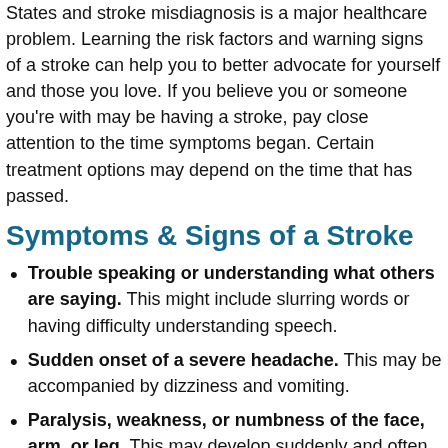States and stroke misdiagnosis is a major healthcare problem. Learning the risk factors and warning signs of a stroke can help you to better advocate for yourself and those you love. If you believe you or someone you're with may be having a stroke, pay close attention to the time symptoms began. Certain treatment options may depend on the time that has passed.
Symptoms & Signs of a Stroke
Trouble speaking or understanding what others are saying. This might include slurring words or having difficulty understanding speech.
Sudden onset of a severe headache. This may be accompanied by dizziness and vomiting.
Paralysis, weakness, or numbness of the face, arm, or leg. This may develop suddenly and often affects just one side of the body
Problems seeing in one or both eyes. This might include...